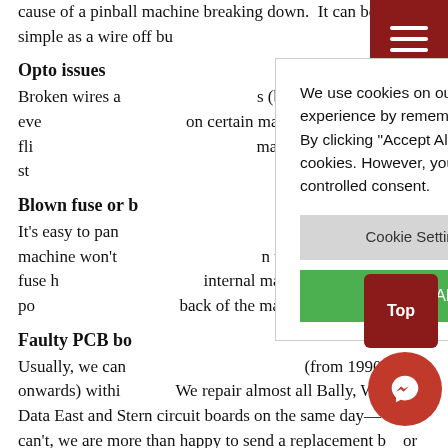cause of a pinball machine breaking down. It can be as simple as a wire off bu...
Opto issues
Broken wires a... (broken solder) and eve... on certain machines to fli... hine and making it do st...
Blown fuse or b...
It's easy to pan... our pinball machine won't ... n to one of two things: a fuse h... internal mains, or the Euro po... back of the machine.
Faulty PCB bo...
Usually, we can ... (from 1990 onwards) withi... We repair almost all Bally, Williams, Data East and Stern circuit boards on the same day—e can't, we are more than happy to send a replacement b... or your pinball machine. You can find out more about our pinball
[Figure (screenshot): Cookie consent modal overlay with text: 'We use cookies on our website to give you the most relevant experience by remembering your preferences and repeat visits. By clicking "Accept All", you consent to the use of ALL the cookies. However, you may visit "Cookie Settings" to provide a controlled consent.' With two buttons: 'Cookie Settings' (gray) and 'Accept All' (green).]
[Figure (other): Red hamburger menu button in top right corner with three white horizontal lines.]
[Figure (other): Dark red 'Top' button (rectangle) in bottom right area.]
[Figure (other): Red circular Messenger chat button in bottom right corner.]